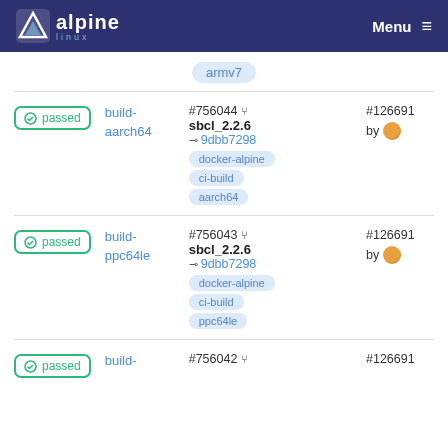Alpine Linux — Menu
armv7
passed | build-aarch64 | #756044 sbcl_2.2.6 9dbb7298 docker-alpine ci-build aarch64 | #126691 by [user]
passed | build-ppc64le | #756043 sbcl_2.2.6 9dbb7298 docker-alpine ci-build ppc64le | #126691 by [user]
passed | build- | #756042 | #126691